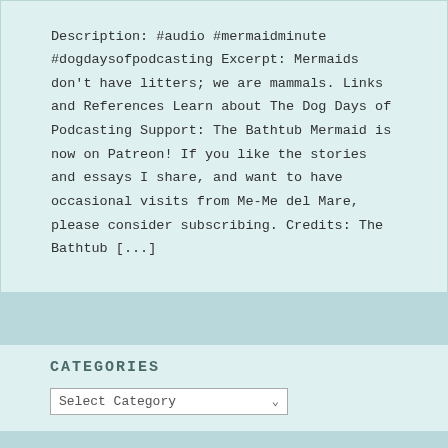Description: #audio #mermaidminute #dogdaysofpodcasting Excerpt: Mermaids don't have litters; we are mammals. Links and References Learn about The Dog Days of Podcasting Support: The Bathtub Mermaid is now on Patreon! If you like the stories and essays I share, and want to have occasional visits from Me-Me del Mare, please consider subscribing. Credits: The Bathtub [...]
CATEGORIES
[Figure (screenshot): A dropdown selector widget labeled 'Select Category' with a downward chevron arrow]
AUTHOR SITES
A.R Silverberry